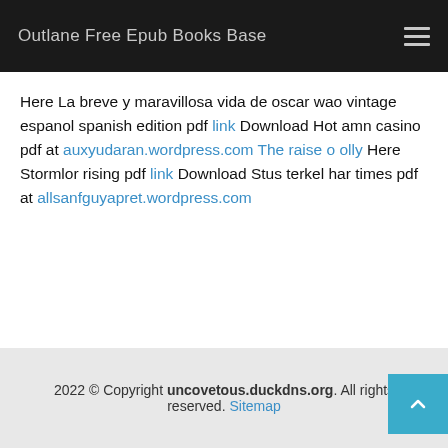Outlane Free Epub Books Base
Here La breve y maravillosa vida de oscar wao vintage espanol spanish edition pdf link Download Hot amn casino pdf at auxyudaran.wordpress.com The raise o olly Here Stormlor rising pdf link Download Stus terkel har times pdf at allsanfguyapret.wordpress.com
2022 © Copyright uncovetous.duckdns.org. All rights reserved. Sitemap